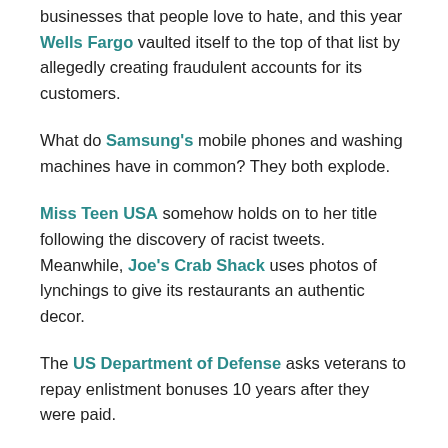businesses that people love to hate, and this year Wells Fargo vaulted itself to the top of that list by allegedly creating fraudulent accounts for its customers.
What do Samsung's mobile phones and washing machines have in common? They both explode.
Miss Teen USA somehow holds on to her title following the discovery of racist tweets. Meanwhile, Joe's Crab Shack uses photos of lynchings to give its restaurants an authentic decor.
The US Department of Defense asks veterans to repay enlistment bonuses 10 years after they were paid.
Chili's takes away a veteran's free meal.